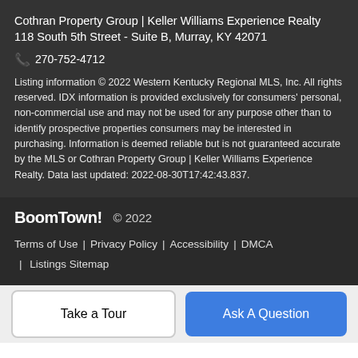Cothran Property Group | Keller Williams Experience Realty
118 South 5th Street - Suite B, Murray, KY 42071
📞 270-752-4712
Listing information © 2022 Western Kentucky Regional MLS, Inc. All rights reserved. IDX information is provided exclusively for consumers' personal, non-commercial use and may not be used for any purpose other than to identify prospective properties consumers may be interested in purchasing. Information is deemed reliable but is not guaranteed accurate by the MLS or Cothran Property Group | Keller Williams Experience Realty. Data last updated: 2022-08-30T17:42:43.837.
BoomTown!  © 2022
Terms of Use | Privacy Policy | Accessibility | DMCA | Listings Sitemap
Take a Tour
Ask A Question